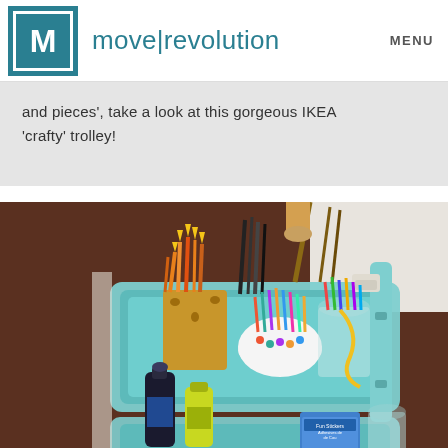move|revolution  MENU
and pieces', take a look at this gorgeous IKEA 'crafty' trolley!
[Figure (photo): An IKEA trolley (light teal/turquoise color) filled with craft supplies including pencils, markers, paint brushes, crayons, and bottles of paint on the shelves below, set against a brown background.]